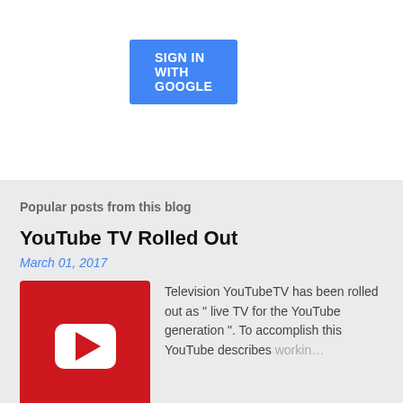[Figure (screenshot): Blue 'SIGN IN WITH GOOGLE' button on white background]
Popular posts from this blog
YouTube TV Rolled Out
March 01, 2017
[Figure (logo): YouTube logo icon: red rounded rectangle with white play button triangle]
Television YouTubeTV has been rolled out as " live TV for the YouTube generation ". To accomplish this YouTube describes workin...
READ MORE
The Week That Was